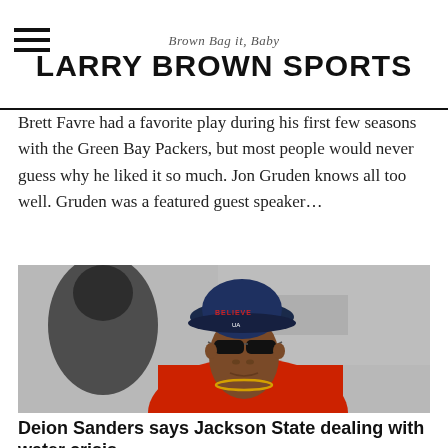Brown Bag it, Baby — LARRY BROWN SPORTS
Brett Favre had a favorite play during his first few seasons with the Green Bay Packers, but most people would never guess why he liked it so much. Jon Gruden knows all too well. Gruden was a featured guest speaker…
[Figure (photo): Photo of Deion Sanders wearing a navy bucket hat with 'BELIEVE' text and Under Armour logo, sunglasses, red shirt, gold chain, outdoors at a sporting event]
Deion Sanders says Jackson State dealing with water crisis